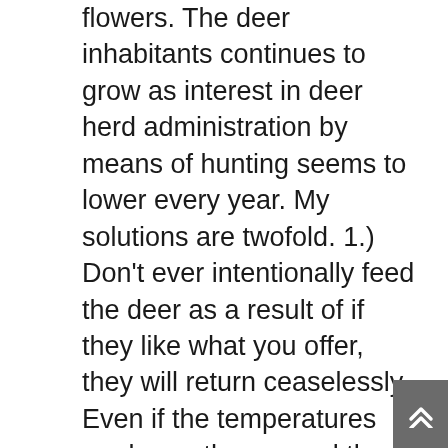flowers. The deer inhabitants continues to grow as interest in deer herd administration by means of hunting seems to lower every year. My solutions are twofold. 1.) Don't ever intentionally feed the deer as a result of if they like what you offer, they will return ceaselessly. Even if the temperatures are beneath zero and the snow is deep, don't feel sorry and purchase bagged deer meals. It's extremely dangerous for the deer and the deer are unhealthy to your gardens. 2.) Research plants which might be much less favored by deer and stick with them in your gardens. cnc red floor Do not enable yourself to suppose I know what they are saying however possibly the deer will not contact this.â€ They may.
Perfect! Just examine your electronic mail get your free copy of my Meals Gardening one hundred and